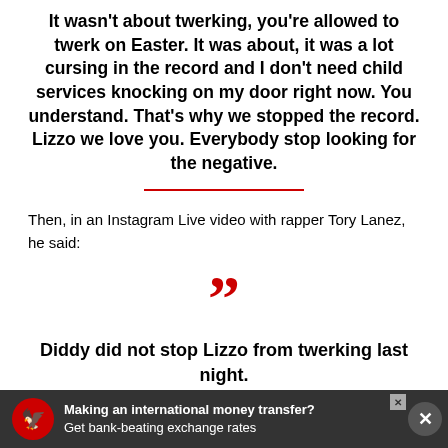It wasn't about twerking, you're allowed to twerk on Easter. It was about, it was a lot cursing in the record and I don't need child services knocking on my door right now. You understand. That's why we stopped the record. Lizzo we love you. Everybody stop looking for the negative.
Then, in an Instagram Live video with rapper Tory Lanez, he said:
“”
Diddy did not stop Lizzo from twerking last night.